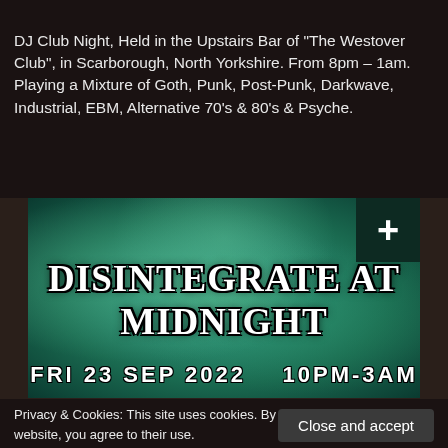DJ Club Night, Held in the Upstairs Bar of "The Westover Club", in Scarborough, North Yorkshire. From 8pm – 1am. Playing a Mixture of Goth, Punk, Post-Punk, Darkwave, Industrial, EBM, Alternative 70's & 80's & Psyche.
[Figure (illustration): Event banner with teal/green swirling marble background. Large gothic-style text reads 'DISINTEGRATE AT MIDNIGHT'. Below: 'FRI 23 SEP 2022   10PM-3AM'. Dark green plus icon in top-right corner.]
Privacy & Cookies: This site uses cookies. By continuing to use this website, you agree to their use.
To find out more, including how to control cookies, see here: Cookie Policy
Close and accept